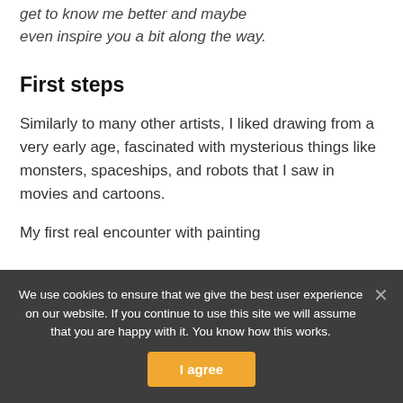get to know me better and maybe even inspire you a bit along the way.
First steps
Similarly to many other artists, I liked drawing from a very early age, fascinated with mysterious things like monsters, spaceships, and robots that I saw in movies and cartoons.
My first real encounter with painting
We use cookies to ensure that we give the best user experience on our website. If you continue to use this site we will assume that you are happy with it. You know how this works.
I agree